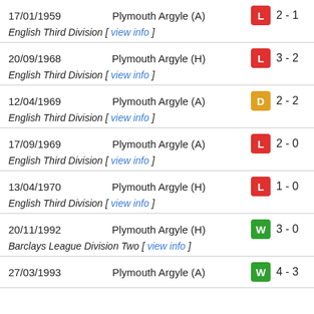17/01/1959 Plymouth Argyle (A) L 2 - 1
English Third Division [ view info ]
20/09/1968 Plymouth Argyle (H) L 3 - 2
English Third Division [ view info ]
12/04/1969 Plymouth Argyle (A) D 2 - 2
English Third Division [ view info ]
17/09/1969 Plymouth Argyle (A) L 2 - 0
English Third Division [ view info ]
13/04/1970 Plymouth Argyle (H) L 1 - 0
English Third Division [ view info ]
20/11/1992 Plymouth Argyle (H) W 3 - 0
Barclays League Division Two [ view info ]
27/03/1993 Plymouth Argyle (A) W 4 - 3